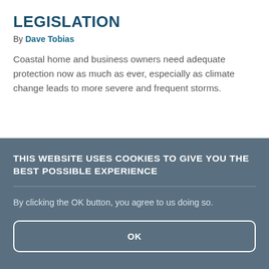LEGISLATION
By Dave Tobias
Coastal home and business owners need adequate protection now as much as ever, especially as climate change leads to more severe and frequent storms.
THIS WEBSITE USES COOKIES TO GIVE YOU THE BEST POSSIBLE EXPERIENCE
By clicking the OK button, you agree to us doing so.
OK